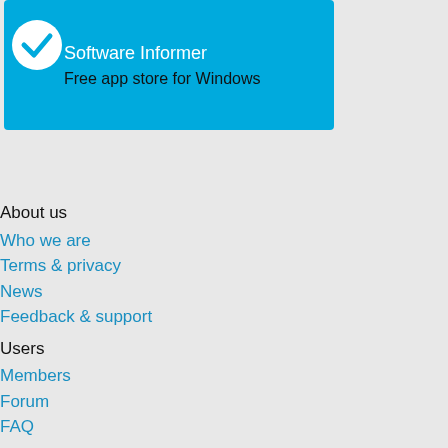[Figure (logo): Software Informer banner with blue background, white checkmark icon, title 'Software Informer' and subtitle 'Free app store for Windows']
About us
Who we are
Terms & privacy
News
Feedback & support
Users
Members
Forum
FAQ
Developers
Advertising
General information
Submit/Update program
DMCA
Software
Answers
Top software